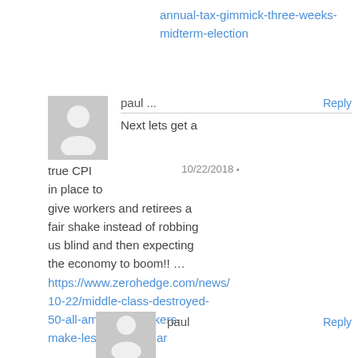annual-tax-gimmick-three-weeks-midterm-election
paul ...
Reply
10/22/2018 •
Next lets get a true CPI in place to give workers and retirees a fair shake instead of robbing us blind and then expecting the economy to boom!! … https://www.zerohedge.com/news/10-22/middle-class-destroyed-50-all-american-workers-make-less-30533-year
paul Reply